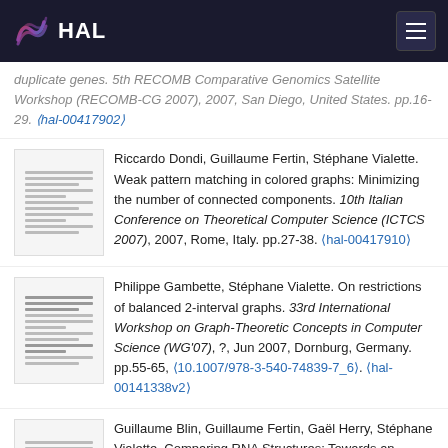HAL
duplicate genes. 5th RECOMB Comparative Genomics Satellite Workshop (RECOMB-CG 2007), 2007, San Diego, United States. pp.16-29. ⟨hal-00417902⟩
Riccardo Dondi, Guillaume Fertin, Stéphane Vialette. Weak pattern matching in colored graphs: Minimizing the number of connected components. 10th Italian Conference on Theoretical Computer Science (ICTCS 2007), 2007, Rome, Italy. pp.27-38. ⟨hal-00417910⟩
Philippe Gambette, Stéphane Vialette. On restrictions of balanced 2-interval graphs. 33rd International Workshop on Graph-Theoretic Concepts in Computer Science (WG'07), ?, Jun 2007, Dornburg, Germany. pp.55-65, ⟨10.1007/978-3-540-74839-7_6⟩. ⟨hal-00141338v2⟩
Guillaume Blin, Guillaume Fertin, Gaël Herry, Stéphane Vialette. Comparing RNA Structures: Towards an Intermediate Model Between the EDIT